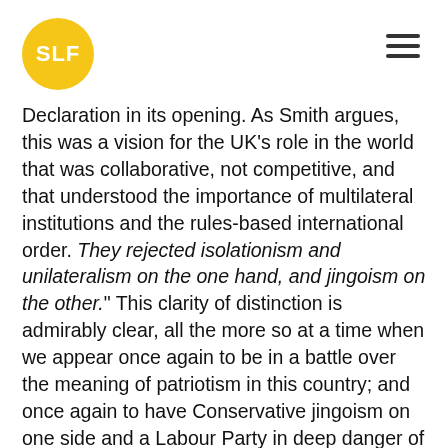SLF
Declaration in its opening. As Smith argues, this was a vision for the UK's role in the world that was collaborative, not competitive, and that understood the importance of multilateral institutions and the rules-based international order. They rejected isolationism and unilateralism on the one hand, and jingoism on the other." This clarity of distinction is admirably clear, all the more so at a time when we appear once again to be in a battle over the meaning of patriotism in this country; and once again to have Conservative jingoism on one side and a Labour Party in deep danger of looking only inward on the other. Smith's argument for a strong defence policy is mature and realistic - "evil exists that states may need to be prepared to oppose" - and her analysis of Johnson's government succinct and compelling: "with the right wing of his party in the ascendant, a dramatic